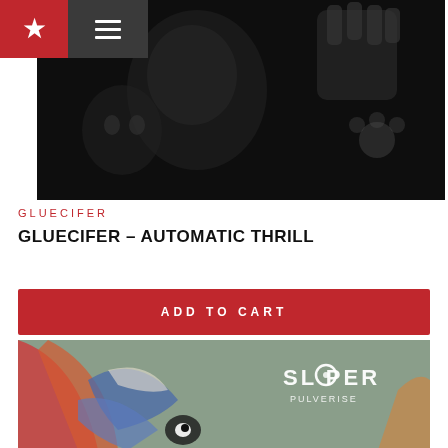★ ≡
[Figure (photo): Black and white grainy photo used as album art background for Gluecifer - Automatic Thrill]
GLUECIFER
GLUECIFER – AUTOMATIC THRILL
ADD TO CART
[Figure (photo): Colorful abstract album art with text reading SLOPER PULVERISE]